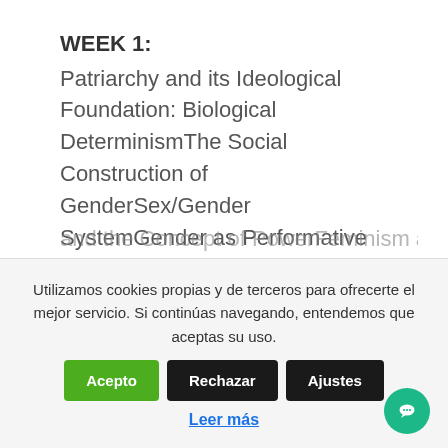WEEK 1: Patriarchy and its Ideological Foundation: Biological DeterminismThe Social Construction of GenderSex/Gender SystemGender as Performative
WEEK 2: Public-Private Divide and FeminismFeminist Criticism of Public Private DistinctionFeminism and the Concept of PowerFeminism and the
Utilizamos cookies propias y de terceros para ofrecerte el mejor servicio. Si continúas navegando, entendemos que aceptas su uso.
Leer más